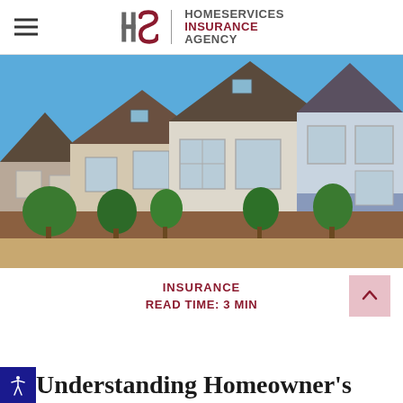HomeServices Insurance Agency
[Figure (photo): Row of suburban townhouses with blue siding and beige stucco exteriors against a clear blue sky, with green trees and a brown fence in the foreground]
INSURANCE
READ TIME:  3 MIN
Understanding Homeowner's